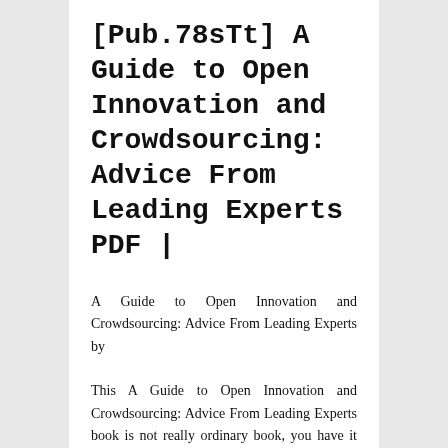[Pub.78sTt] A Guide to Open Innovation and Crowdsourcing: Advice From Leading Experts PDF |
A Guide to Open Innovation and Crowdsourcing: Advice From Leading Experts by
This A Guide to Open Innovation and Crowdsourcing: Advice From Leading Experts book is not really ordinary book, you have it then the world is in your hands. The benefit you get by reading this book is actually information inside this reserve incredible fresh, you will get information